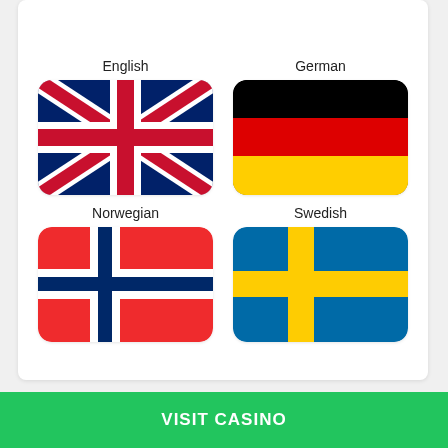on offer for players who don't speak English.
[Figure (illustration): Four national flags arranged in a 2x2 grid: English (UK flag), German (Germany flag), Norwegian (Norway flag), Swedish (Sweden flag), each with a rounded rectangle shape and a language label above.]
VISIT CASINO